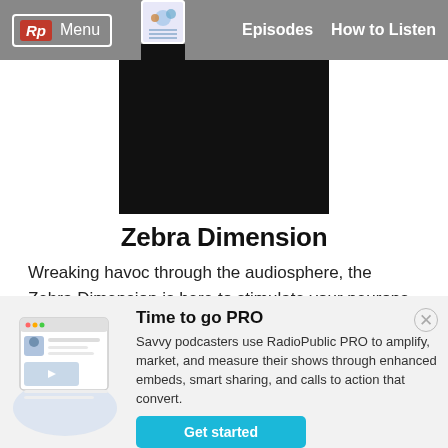Rp Menu | Episodes | How to Listen
[Figure (photo): Black square podcast cover image for Zebra Dimension with a small illustrated thumbnail at top]
Zebra Dimension
Wreaking havoc through the audiosphere, the Zebra Dimension is here to stimulate your neurons, twist your imagination and consume your mind. You have ...
Learn More
Time to go PRO
Savvy podcasters use RadioPublic PRO to amplify, market, and measure their shows through enhanced embeds, smart sharing, and calls to action that convert.
Get started